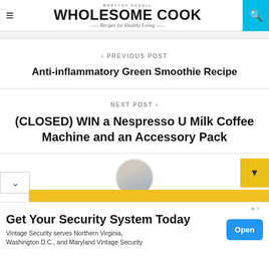MARTYNA ANGELL | WHOLESOME COOK — Recipes for Healthy Living
< PREVIOUS POST
Anti-inflammatory Green Smoothie Recipe
NEXT POST >
(CLOSED) WIN a Nespresso U Milk Coffee Machine and an Accessory Pack
[Figure (photo): Circular author avatar photo of a woman in a kitchen]
Get Your Security System Today
Vintage Security serves Northern Virginia, Washington D.C., and Maryland Vintage Security